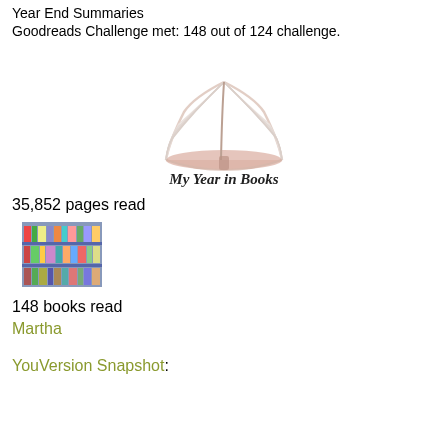Year End Summaries
Goodreads Challenge met: 148 out of 124 challenge.
[Figure (logo): Open book logo with text 'My Year in Books' beneath it]
35,852 pages read
[Figure (photo): Photo of bookstore shelves filled with colorful books]
148 books read
Martha
YouVersion Snapshot: